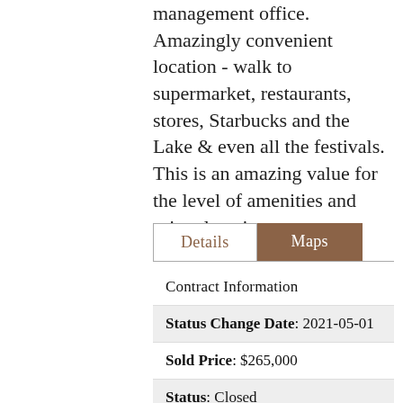management office. Amazingly convenient location - walk to supermarket, restaurants, stores, Starbucks and the Lake & even all the festivals. This is an amazing value for the level of amenities and prime location.
| Contract Information |
| --- |
| Status Change Date: 2021-05-01 |
| Sold Price: $265,000 |
| Status: Closed |
| Current Price: $265,000 |